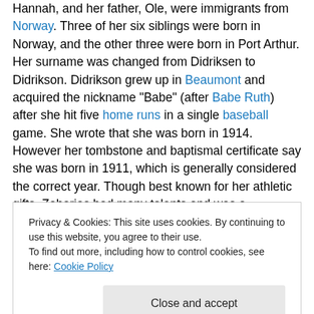Hannah, and her father, Ole, were immigrants from Norway. Three of her six siblings were born in Norway, and the other three were born in Port Arthur. Her surname was changed from Didriksen to Didrikson. Didrikson grew up in Beaumont and acquired the nickname "Babe" (after Babe Ruth) after she hit five home runs in a single baseball game. She wrote that she was born in 1914. However her tombstone and baptismal certificate say she was born in 1911, which is generally considered the correct year. Though best known for her athletic gifts, Zaharias had many talents and was a competitor in even
Privacy & Cookies: This site uses cookies. By continuing to use this website, you agree to their use. To find out more, including how to control cookies, see here: Cookie Policy